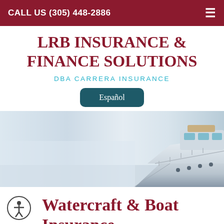CALL US (305) 448-2886
LRB INSURANCE & FINANCE SOLUTIONS
DBA CARRERA INSURANCE
Español
[Figure (photo): Hero photograph of a luxury yacht/boat bow from a low angle, with a pale blue-gray sky and water background. The boat is white with chrome railings and dark porthole windows.]
Watercraft & Boat Insurance